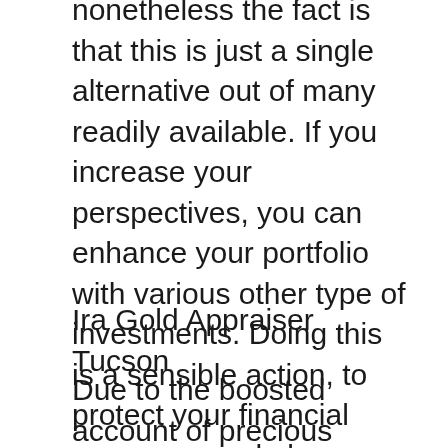nonetheless the fact is that this is just a single alternative out of many readily available. If you increase your perspectives, you can enhance your portfolio with various other type of investments. Doing this is a sensible action, to protect your financial resources and also provide you future safety and security. Silver, gold as well as other precious metals might be an ideal financial investment avenue to take into consideration.
Ira Gold Appraiser Tucson
Due to the boosted account of precious metals, boosting varieties of companies are giving services. Certainly, the even more competition there is, the more offers improve